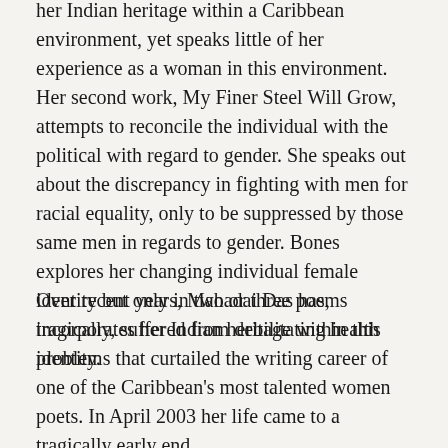her Indian heritage within a Caribbean environment, yet speaks little of her experience as a woman in this environment. Her second work, My Finer Steel Will Grow, attempts to reconcile the individual with the political with regard to gender. She speaks out about the discrepancy in fighting with men for racial equality, only to be suppressed by those same men in regards to gender. Bones explores her changing individual female identity but only in two or three poems incorporates her Indian heritage within this identity.
Over recent years, Mahadai Das has, tragically, suffered from debilitating health problems that curtailed the writing career of one of the Caribbean's most talented women poets. In April 2003 her life came to a tragically early end.